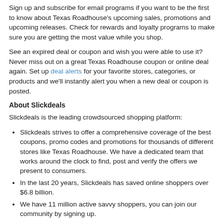Sign up and subscribe for email programs if you want to be the first to know about Texas Roadhouse's upcoming sales, promotions and upcoming releases. Check for rewards and loyalty programs to make sure you are getting the most value while you shop.
See an expired deal or coupon and wish you were able to use it? Never miss out on a great Texas Roadhouse coupon or online deal again. Set up deal alerts for your favorite stores, categories, or products and we'll instantly alert you when a new deal or coupon is posted.
About Slickdeals
Slickdeals is the leading crowdsourced shopping platform:
Slickdeals strives to offer a comprehensive coverage of the best coupons, promo codes and promotions for thousands of different stores like Texas Roadhouse. We have a dedicated team that works around the clock to find, post and verify the offers we present to consumers.
In the last 20 years, Slickdeals has saved online shoppers over $6.8 billion.
We have 11 million active savvy shoppers, you can join our community by signing up.